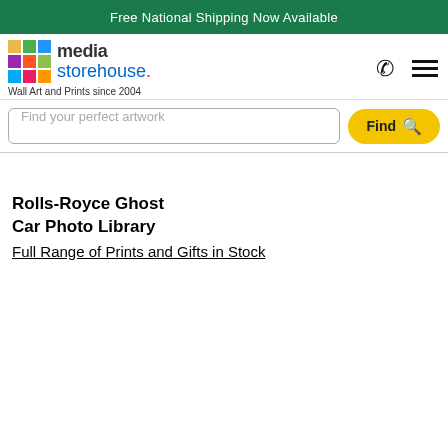Free National Shipping Now Available
[Figure (logo): Media Storehouse logo with colorful grid icon and text 'media storehouse. Wall Art and Prints since 2004']
Find your perfect artwork
Rolls-Royce Ghost Car Photo Library Full Range of Prints and Gifts in Stock